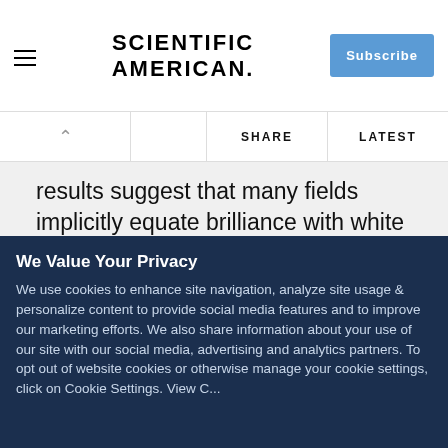Scientific American — Subscribe
results suggest that many fields implicitly equate brilliance with white males.
Female Ph.D.s (all races and ethnicities)
Social sciences and humanities
STEM disciplines
Percent of All Ph.Ds per Discipline (U.S. 2011)
We Value Your Privacy
We use cookies to enhance site navigation, analyze site usage & personalize content to provide social media features and to improve our marketing efforts. We also share information about your use of our site with our social media, advertising and analytics partners. To opt out of website cookies or otherwise manage your cookie settings, click on Cookie Settings. View C...